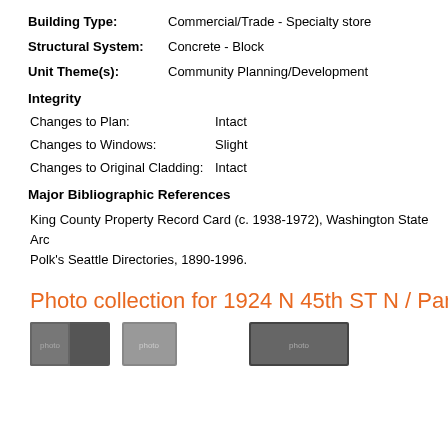Building Type: Commercial/Trade - Specialty store
Structural System: Concrete - Block
Unit Theme(s): Community Planning/Development
Integrity
Changes to Plan: Intact
Changes to Windows: Slight
Changes to Original Cladding: Intact
Major Bibliographic References
King County Property Record Card (c. 1938-1972), Washington State Arc Polk's Seattle Directories, 1890-1996.
Photo collection for 1924 N 45th ST N / Parcel ID
[Figure (photo): Two small thumbnail photographs of the property]